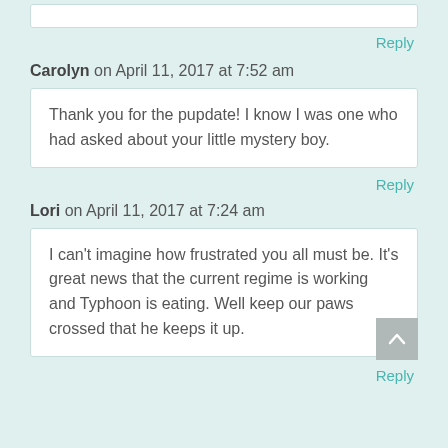Reply
Carolyn on April 11, 2017 at 7:52 am
Thank you for the pupdate! I know I was one who had asked about your little mystery boy.
Reply
Lori on April 11, 2017 at 7:24 am
I can't imagine how frustrated you all must be. It's great news that the current regime is working and Typhoon is eating. Well keep our paws crossed that he keeps it up.
Reply